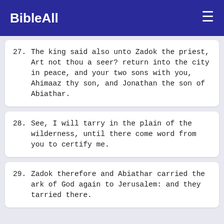BibleAll
27. The king said also unto Zadok the priest, Art not thou a seer? return into the city in peace, and your two sons with you, Ahimaaz thy son, and Jonathan the son of Abiathar.
28. See, I will tarry in the plain of the wilderness, until there come word from you to certify me.
29. Zadok therefore and Abiathar carried the ark of God again to Jerusalem: and they tarried there.